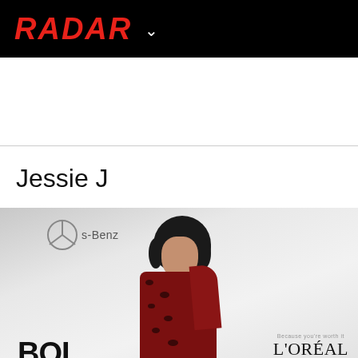RADAR
Jessie J
[Figure (photo): Jessie J posing on a red carpet event in front of Mercedes-Benz and L'Oréal Paris and BOL branded backdrop, wearing a dark red leopard print outfit with short dark wavy hair and red lipstick, looking over her shoulder]